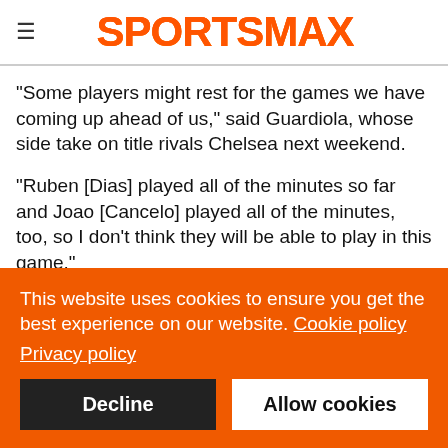SPORTSMAX
"Some players might rest for the games we have coming up ahead of us," said Guardiola, whose side take on title rivals Chelsea next weekend.
"Ruben [Dias] played all of the minutes so far and Joao [Cancelo] played all of the minutes, too, so I don't think they will be able to play in this game."
Tuesday's game will be the first meeting between City and Wycombe since April 1999, with Wanderers winning 2-1 at Maine
This website uses cookies to ensure you get the best experience on our website. Cookie policy Privacy policy
Decline
Allow cookies